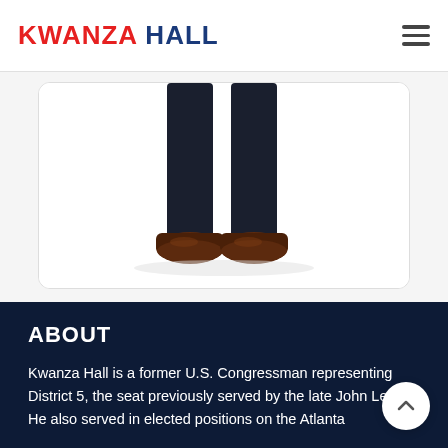KWANZA HALL
[Figure (photo): Lower half of a person wearing dark navy/black dress trousers and brown leather dress shoes, standing on a white background, shown inside a rounded white card.]
ABOUT
Kwanza Hall is a former U.S. Congressman representing District 5, the seat previously served by the late John Lewis. He also served in elected positions on the Atlanta